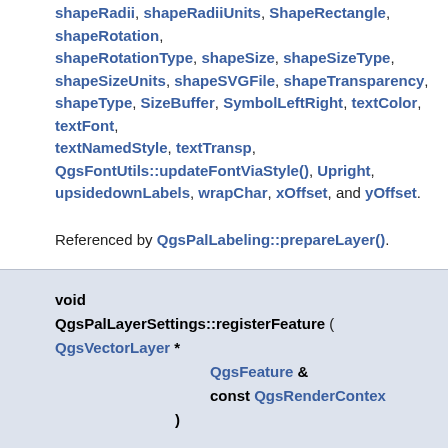shapeFillColor, shapeJoinStyle, shapeOffset, shapeOffsetUnits, shapeRadii, shapeRadiiUnits, ShapeRectangle, shapeRotation, shapeRotationType, shapeSize, shapeSizeType, shapeSizeUnits, shapeSVGFile, shapeTransparency, shapeType, SizeBuffer, SymbolLeftRight, textColor, textFont, textNamedStyle, textTransp, QgsFontUtils::updateFontViaStyle(), Upright, upsidedownLabels, wrapChar, xOffset, and yOffset.
Referenced by QgsPalLabeling::prepareLayer().
void QgsPalLayerSettings::registerFeature ( QgsVectorLayer * QgsFeature & const QgsRenderContext )
Definition at line 1487 of file qgspallabeling.cpp.
References _decodeUnits(), QgsPalGeometry::addDataDefinedValues(), AlwaysShow, MathUtils::angle(), angleOffset, AroundPoint, QgsGeometry::asGeos(), QgsFeature::attribute(), calculateLabelSize(), CentroidWhole, centroidWhole, checkMinimumSizeMM().